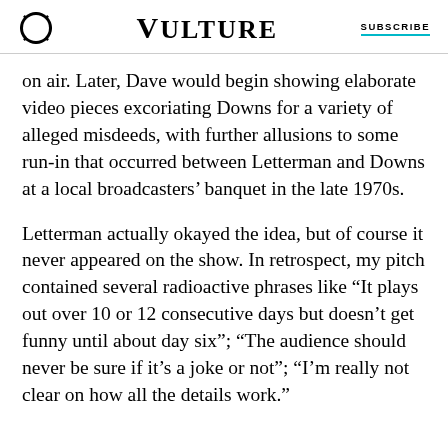VULTURE | SUBSCRIBE
on air. Later, Dave would begin showing elaborate video pieces excoriating Downs for a variety of alleged misdeeds, with further allusions to some run-in that occurred between Letterman and Downs at a local broadcasters’ banquet in the late 1970s.
Letterman actually okayed the idea, but of course it never appeared on the show. In retrospect, my pitch contained several radioactive phrases like “It plays out over 10 or 12 consecutive days but doesn’t get funny until about day six”; “The audience should never be sure if it’s a joke or not”; “I’m really not clear on how all the details work.”